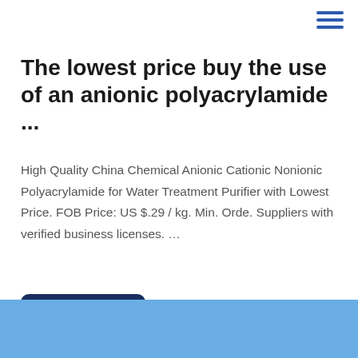≡
The lowest price buy the use of an anionic polyacrylamide ...
High Quality China Chemical Anionic Cationic Nonionic Polyacrylamide for Water Treatment Purifier with Lowest Price. FOB Price: US $.29 / kg. Min. Orde. Suppliers with verified business licenses. …
Get Price
[Figure (other): Blue banner/bar at the bottom of the page]